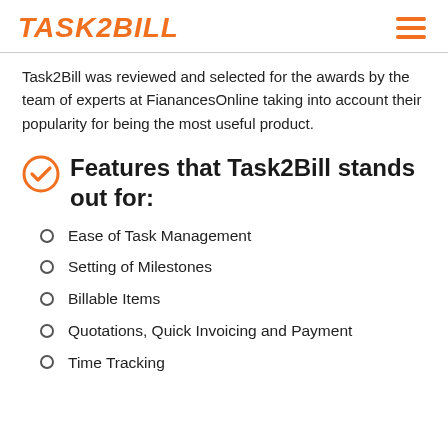TASK2BILL
Task2Bill was reviewed and selected for the awards by the team of experts at FianancesOnline taking into account their popularity for being the most useful product.
Features that Task2Bill stands out for:
Ease of Task Management
Setting of Milestones
Billable Items
Quotations, Quick Invoicing and Payment
Time Tracking